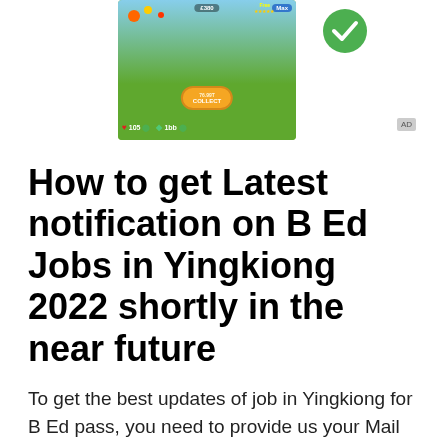[Figure (screenshot): Mobile game advertisement screenshot showing a colorful game with collect button, coins (105) and gems (1bb) display, with a green checkmark badge. An 'AD' label badge is visible in the top right area.]
How to get Latest notification on B Ed Jobs in Yingkiong 2022 shortly in the near future
To get the best updates of job in Yingkiong for B Ed pass, you need to provide us your Mail ID now & then we will start sending you the B Ed jobs in Yingkiong 2022 updates time and Again. We know that B Ed applicants are ready to get jobs in Yingkiong.